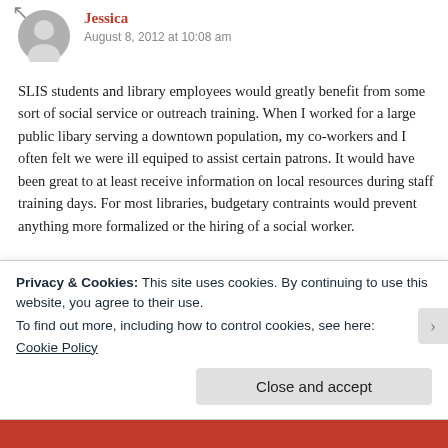[Figure (illustration): Gray user avatar icon (silhouette of a person)]
Jessica
August 8, 2012 at 10:08 am
SLIS students and library employees would greatly benefit from some sort of social service or outreach training. When I worked for a large public libary serving a downtown population, my co-workers and I often felt we were ill equiped to assist certain patrons. It would have been great to at least receive information on local resources during staff training days. For most libraries, budgetary contraints would prevent anything more formalized or the hiring of a social worker.
Currently, I'm employed at a career college and am
Privacy & Cookies: This site uses cookies. By continuing to use this website, you agree to their use.
To find out more, including how to control cookies, see here:
Cookie Policy
Close and accept